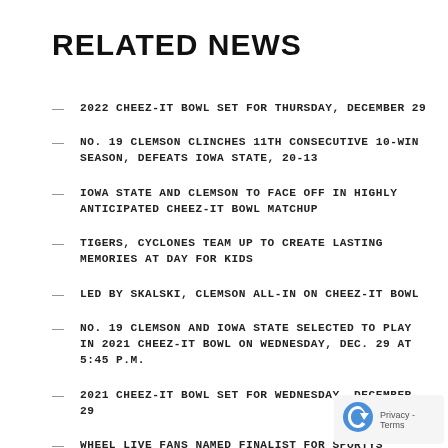RELATED NEWS
2022 CHEEZ-IT BOWL SET FOR THURSDAY, DECEMBER 29
NO. 19 CLEMSON CLINCHES 11TH CONSECUTIVE 10-WIN SEASON, DEFEATS IOWA STATE, 20-13
IOWA STATE AND CLEMSON TO FACE OFF IN HIGHLY ANTICIPATED CHEEZ-IT BOWL MATCHUP
TIGERS, CYCLONES TEAM UP TO CREATE LASTING MEMORIES AT DAY FOR KIDS
LED BY SKALSKI, CLEMSON ALL-IN ON CHEEZ-IT BOWL
NO. 19 CLEMSON AND IOWA STATE SELECTED TO PLAY IN 2021 CHEEZ-IT BOWL ON WEDNESDAY, DEC. 29 AT 5:45 P.M.
2021 CHEEZ-IT BOWL SET FOR WEDNESDAY, DECEMBER 29
WHEEL LIVE FANS NAMED FINALIST FOR SPORTYS SPONSORSHIP ACTIVATION OF THE YEAR